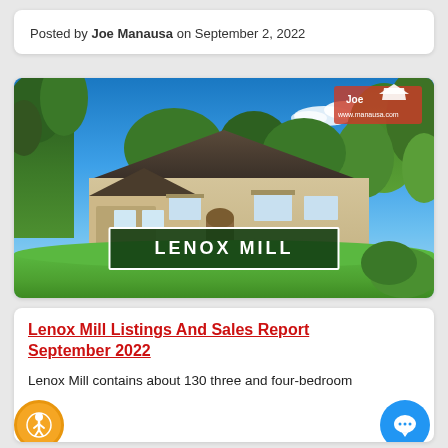Posted by Joe Manausa on September 2, 2022
[Figure (photo): Exterior photo of a single-story beige stucco home with dark roof, green lawn, trees, and blue sky background. A dark green banner with white text reads 'LENOX MILL' at the bottom of the image. A Joe Manausa logo appears in the upper right corner.]
Lenox Mill Listings And Sales Report September 2022
Lenox Mill contains about 130 three and four-bedroom